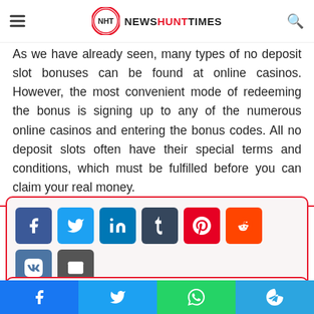NewsHuntTimes navigation bar with logo
As we have already seen, many types of no deposit slot bonuses can be found at online casinos. However, the most convenient mode of redeeming the bonus is signing up to any of the numerous online casinos and entering the bonus codes. All no deposit slots often have their special terms and conditions, which must be fulfilled before you can claim your real money.
[Figure (infographic): Social share buttons: Facebook, Twitter, LinkedIn, Tumblr, Pinterest, Reddit, VK, Email, Print]
[Figure (screenshot): Bottom of page with partial related article card]
Mobile share bar with Facebook, Twitter, WhatsApp, Telegram buttons